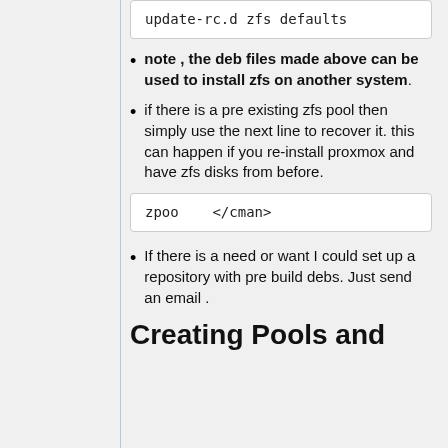update-rc.d zfs defaults
note , the deb files made above can be used to install zfs on another system.
if there is a pre existing zfs pool then simply use the next line to recover it. this can happen if you re-install proxmox and have zfs disks from before.
zpoo   </cman>
If there is a need or want I could set up a repository with pre build debs. Just send an email .
Creating Pools and